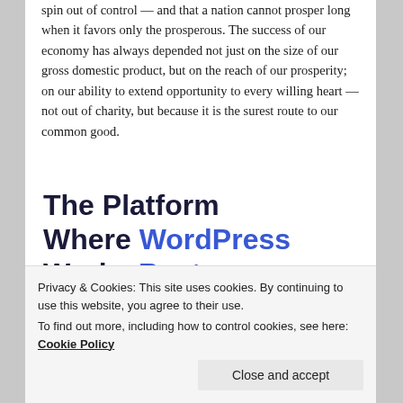spin out of control — and that a nation cannot prosper long when it favors only the prosperous. The success of our economy has always depended not just on the size of our gross domestic product, but on the reach of our prosperity; on our ability to extend opportunity to every willing heart — not out of charity, but because it is the surest route to our common good.
The Platform Where WordPress Works Best
Privacy & Cookies: This site uses cookies. By continuing to use this website, you agree to their use. To find out more, including how to control cookies, see here: Cookie Policy